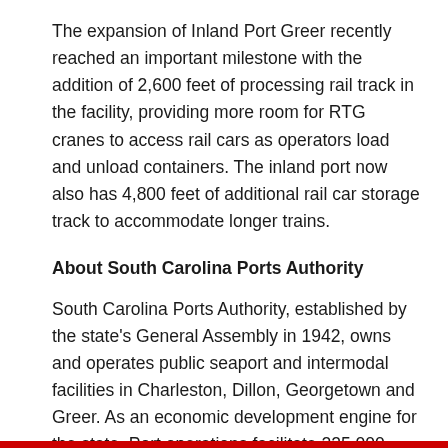The expansion of Inland Port Greer recently reached an important milestone with the addition of 2,600 feet of processing rail track in the facility, providing more room for RTG cranes to access rail cars as operators load and unload containers. The inland port now also has 4,800 feet of additional rail car storage track to accommodate longer trains.
About South Carolina Ports Authority
South Carolina Ports Authority, established by the state's General Assembly in 1942, owns and operates public seaport and intermodal facilities in Charleston, Dillon, Georgetown and Greer. As an economic development engine for the state, Port operations facilitate 225,000 statewide jobs and generate nearly $63.4 billion in annual economic activity. SC Ports is